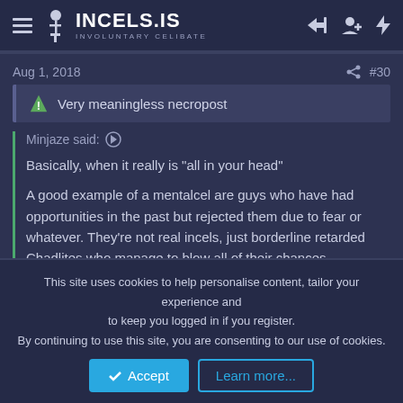INCELS.IS INVOLUNTARY CELIBATE
Aug 1, 2018  #30
Very meaningless necropost
Minjaze said:
Basically, when it really is "all in your head"

A good example of a mentalcel are guys who have had opportunities in the past but rejected them due to fear or whatever. They're not real incels, just borderline retarded Chadlites who manage to blow all of their chances somehow.
This site uses cookies to help personalise content, tailor your experience and to keep you logged in if you register.
By continuing to use this site, you are consenting to our use of cookies.
Accept  Learn more...